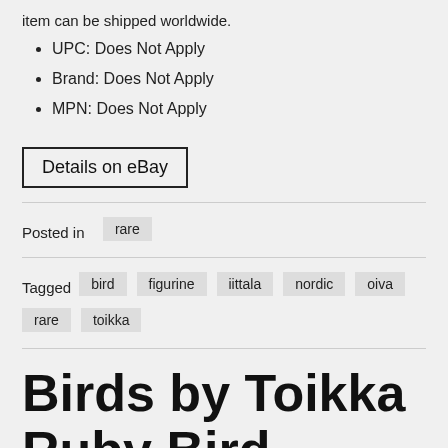item can be shipped worldwide.
UPC: Does Not Apply
Brand: Does Not Apply
MPN: Does Not Apply
Details on eBay
Posted in  rare
Tagged  bird  figurine  iittala  nordic  oiva  rare  toikka
Birds by Toikka Ruby Bird